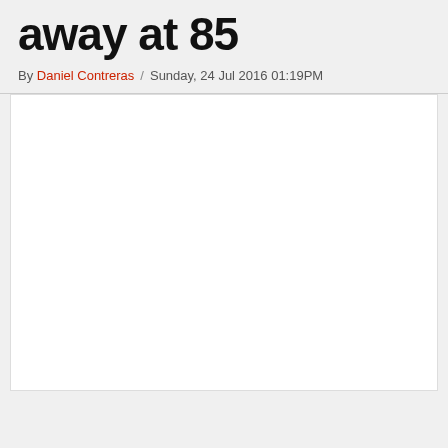away at 85
By Daniel Contreras / Sunday, 24 Jul 2016 01:19PM
[Figure (other): Large white blank content area below the byline]